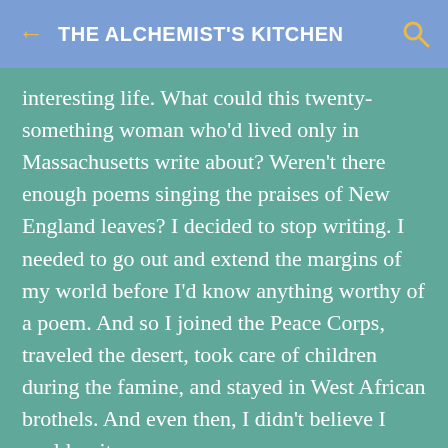← THE ALCHEMIST'S KITCHEN 🔍
interesting life. What could this twenty-something woman who'd lived only in Massachusetts write about? Weren't there enough poems singing the praises of New England leaves? I decided to stop writing. I needed to go out and extend the margins of my world before I'd know anything worthy of a poem. And so I joined the Peace Corps, traveled the desert, took care of children during the famine, and stayed in West African brothels. And even then, I didn't believe I could write.
A second sentence I had the good fortune to sit...